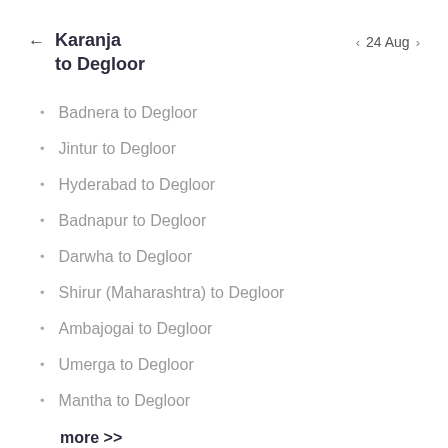← Karanja to Degloor    < 24 Aug >
Badnera to Degloor
Jintur to Degloor
Hyderabad to Degloor
Badnapur to Degloor
Darwha to Degloor
Shirur (Maharashtra) to Degloor
Ambajogai to Degloor
Umerga to Degloor
Mantha to Degloor
more >>